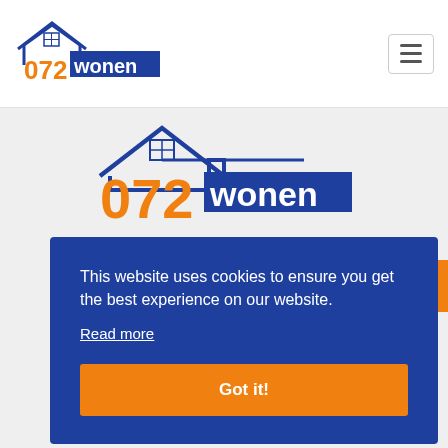[Figure (logo): 072 wonen logo with house icon in header]
[Figure (logo): 072 wonen large logo in center of gray section]
This website uses cookies to ensure you get the best experience on our website.
Read more
Got it!